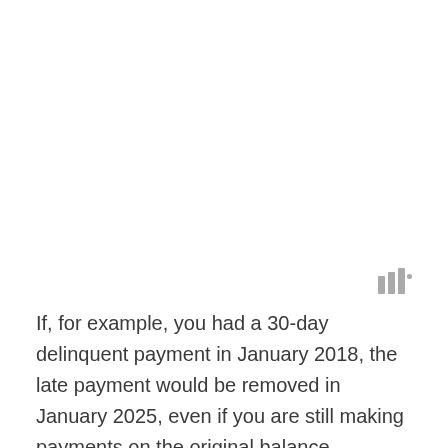[Figure (logo): Small logo with three vertical bars and a degree symbol]
If, for example, you had a 30-day delinquent payment in January 2018, the late payment would be removed in January 2025, even if you are still making payments on the original balance.